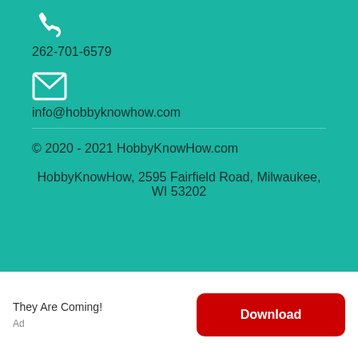262-701-6579
info@hobbyknowhow.com
© 2020 - 2021 HobbyKnowHow.com
HobbyKnowHow, 2595 Fairfield Road, Milwaukee, WI 53202
They Are Coming!
Ad
Download